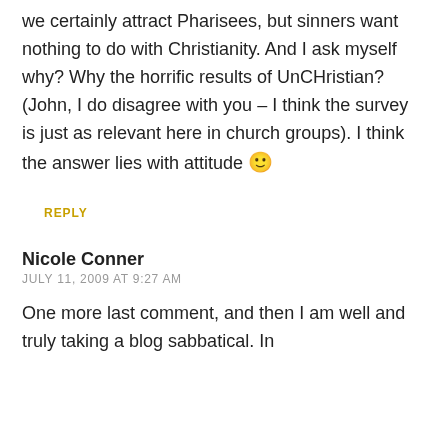we certainly attract Pharisees, but sinners want nothing to do with Christianity. And I ask myself why? Why the horrific results of UnCHristian? (John, I do disagree with you – I think the survey is just as relevant here in church groups). I think the answer lies with attitude 🙂
REPLY
Nicole Conner
JULY 11, 2009 AT 9:27 AM
One more last comment, and then I am well and truly taking a blog sabbatical. In